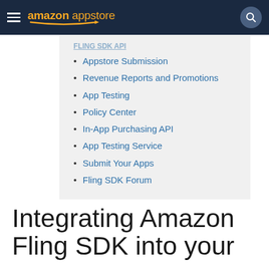amazon appstore
Appstore Submission
Revenue Reports and Promotions
App Testing
Policy Center
In-App Purchasing API
App Testing Service
Submit Your Apps
Fling SDK Forum
Integrating Amazon Fling SDK into your